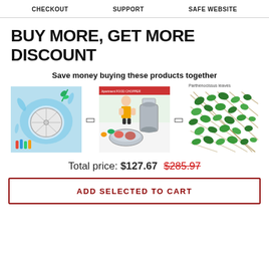CHECKOUT   SUPPORT   SAFE WEBSITE
BUY MORE, GET MORE DISCOUNT
Save money buying these products together
[Figure (photo): Three product images: a washing turbine/spinner device with water splash, a food chopper/blender with a woman in kitchen, and a green ivy/leaf panel fence labeled 'Parthenocissus leaves']
Total price: $127.67  $285.97
ADD SELECTED TO CART